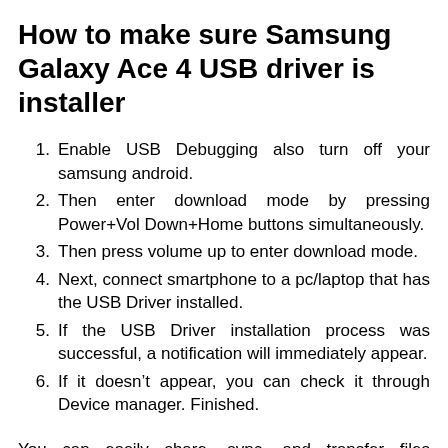How to make sure Samsung Galaxy Ace 4 USB driver is installer
Enable USB Debugging also turn off your samsung android.
Then enter download mode by pressing Power+Vol Down+Home buttons simultaneously.
Then press volume up to enter download mode.
Next, connect smartphone to a pc/laptop that has the USB Driver installed.
If the USB Driver installation process was successful, a notification will immediately appear.
If it doesn’t appear, you can check it through Device manager. Finished.
You can easily share, sync, and transfer files wirelessly